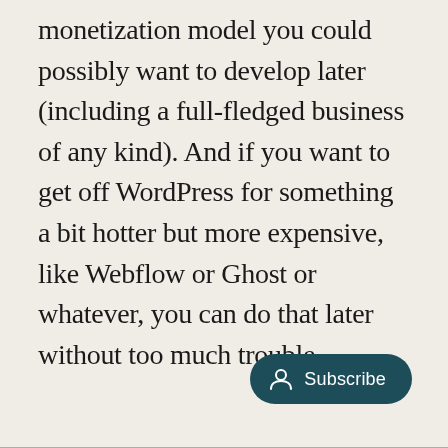monetization model you could possibly want to develop later (including a full-fledged business of any kind). And if you want to get off WordPress for something a bit hotter but more expensive, like Webflow or Ghost or whatever, you can do that later without too much trouble.